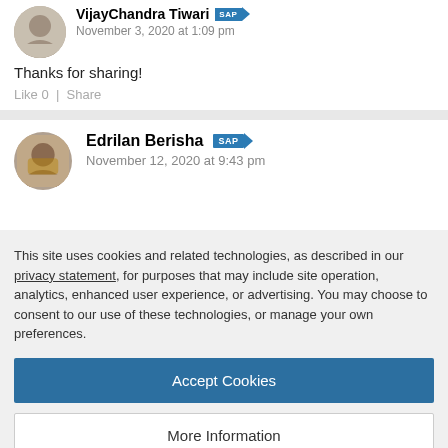VijayChandra Tiwari
November 3, 2020 at 1:09 pm
Thanks for sharing!
Like 0  |  Share
Edrilan Berisha SAP
November 12, 2020 at 9:43 pm
This site uses cookies and related technologies, as described in our privacy statement, for purposes that may include site operation, analytics, enhanced user experience, or advertising. You may choose to consent to our use of these technologies, or manage your own preferences.
Accept Cookies
More Information
Privacy Policy | Powered by: TrustArc
I want to know how to calculate "Value of Valuated GR Blocked